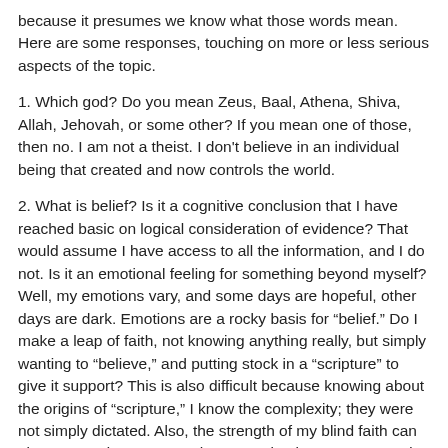because it presumes we know what those words mean. Here are some responses, touching on more or less serious aspects of the topic.
1. Which god? Do you mean Zeus, Baal, Athena, Shiva, Allah, Jehovah, or some other? If you mean one of those, then no. I am not a theist. I don't believe in an individual being that created and now controls the world.
2. What is belief? Is it a cognitive conclusion that I have reached basic on logical consideration of evidence? That would assume I have access to all the information, and I do not. Is it an emotional feeling for something beyond myself? Well, my emotions vary, and some days are hopeful, other days are dark. Emotions are a rocky basis for “belief.” Do I make a leap of faith, not knowing anything really, but simply wanting to “believe,” and putting stock in a “scripture” to give it support? This is also difficult because knowing about the origins of “scripture,” I know the complexity; they were not simply dictated. Also, the strength of my blind faith can also vary and I’m not sure how completely I am supposed to convince myself in order to say I “believe.”